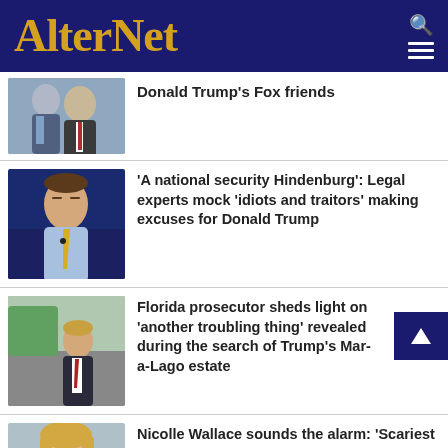AlterNet
Donald Trump's Fox friends
'A national security Hindenburg': Legal experts mock 'idiots and traitors' making excuses for Donald Trump
Florida prosecutor sheds light on 'another troubling thing' revealed during the search of Trump's Mar-a-Lago estate
Nicolle Wallace sounds the alarm: 'Scariest thing I've heard on this program in a long time'